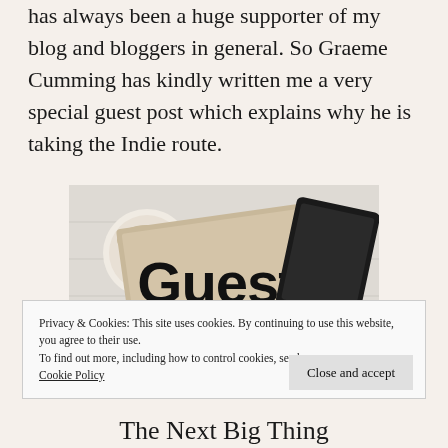has always been a huge supporter of my blog and bloggers in general. So Graeme Cumming has kindly written me a very special guest post which explains why he is taking the Indie route.
[Figure (photo): A photo showing a 'Guest' sign in bold black letters on a beige/tan background, with a coffee cup and a dark tablet/phone visible on a white wooden surface.]
Privacy & Cookies: This site uses cookies. By continuing to use this website, you agree to their use.
To find out more, including how to control cookies, see here: Cookie Policy
Close and accept
The Next Big Thing